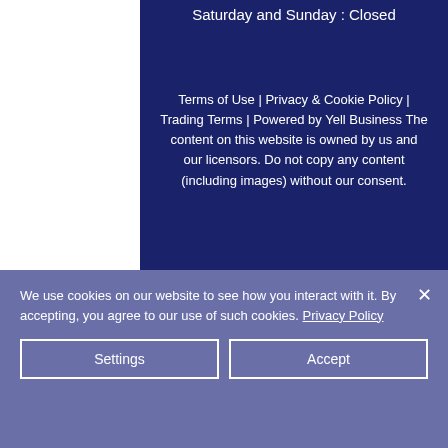Saturday and Sunday : Closed
Terms of Use | Privacy & Cookie Policy | Trading Terms | Powered by Yell Business The content on this website is owned by us and our licensors. Do not copy any content (including images) without our consent.
We use cookies on our website to see how you interact with it. By accepting, you agree to our use of such cookies. Privacy Policy
Settings
Accept